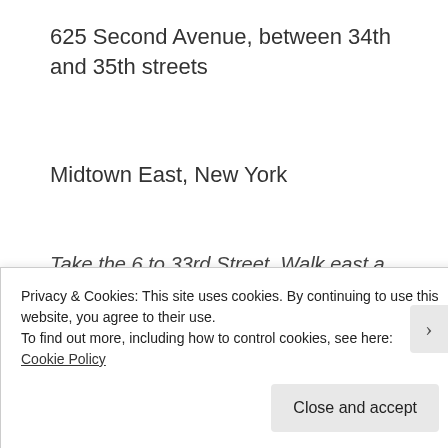625 Second Avenue, between 34th and 35th streets
Midtown East, New York
Take the 6 to 33rd Street. Walk east a few blocks then north on Second Avenue.
Privacy & Cookies: This site uses cookies. By continuing to use this website, you agree to their use.
To find out more, including how to control cookies, see here: Cookie Policy
Close and accept